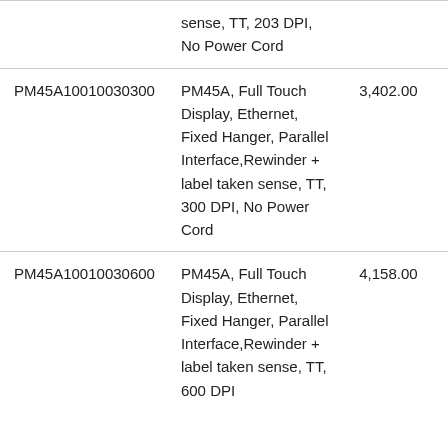|  | sense, TT, 203 DPI, No Power Cord |  |
| PM45A10010030300 | PM45A, Full Touch Display, Ethernet, Fixed Hanger, Parallel Interface,Rewinder + label taken sense, TT, 300 DPI, No Power Cord | 3,402.00 |
| PM45A10010030600 | PM45A, Full Touch Display, Ethernet, Fixed Hanger, Parallel Interface,Rewinder + label taken sense, TT, 600 DPI | 4,158.00 |